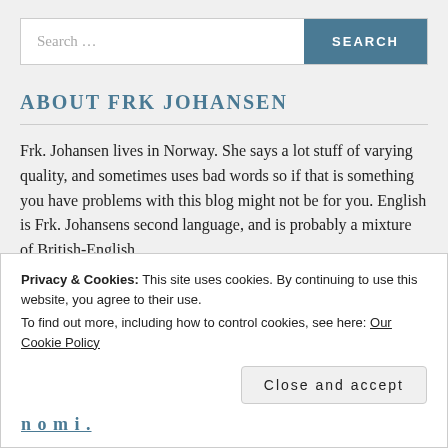[Figure (screenshot): Search bar with text input showing 'Search …' placeholder and a teal 'SEARCH' button on the right]
ABOUT FRK JOHANSEN
Frk. Johansen lives in Norway. She says a lot stuff of varying quality, and sometimes uses bad words so if that is something you have problems with this blog might not be for you. English is Frk. Johansens second language, and is probably a mixture of British-English
Privacy & Cookies: This site uses cookies. By continuing to use this website, you agree to their use.
To find out more, including how to control cookies, see here: Our Cookie Policy
Close and accept